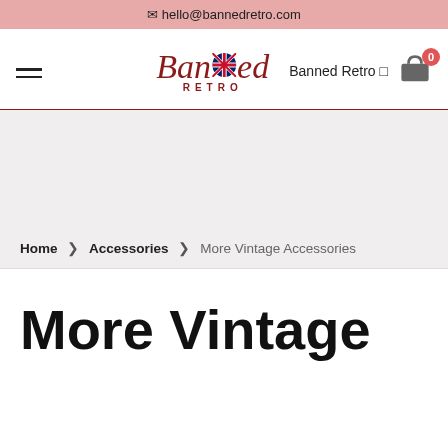✉ hello@bannedretro.com
[Figure (logo): Banned Retro logo with cursive script 'Banned' in dark red, Union Jack flag replacing a letter, 'RETRO' in spaced caps below, and 'Banned Retro' brand text to the right]
[Figure (illustration): Shopping bag cart icon with red badge showing 0]
Home › Accessories › More Vintage Accessories
More Vintage